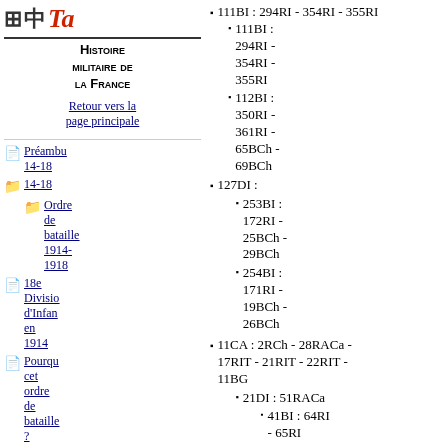Histoire militaire de la France
Retour vers la page principale
Préambu 14-18
Ordre de bataille 1914-1918
18e Divisio d'Infan en 1914
Pourqu cet ordre de bataille?
Histoire des...
111BI : 294RI - 354RI - 355RI
112BI : 350RI - 361RI - 65BCh - 69BCh
127DI :
253BI : 172RI - 25BCh - 29BCh
254BI : 171RI - 19BCh - 26BCh
11CA : 2RCh - 28RACa - 17RIT - 21RIT - 22RIT - 11BG
21DI : 51RACa
41BI : 64RI - 65RI
42BI : 93RI - 137RI
22DI : 35RACa
43BI : 62RI